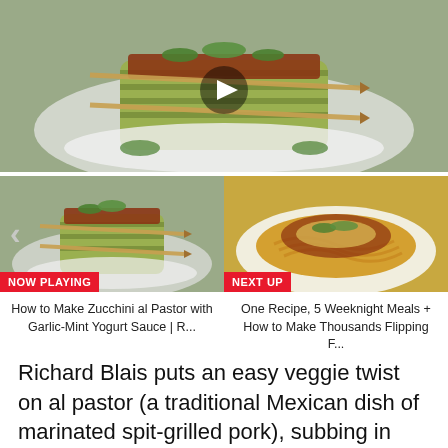[Figure (photo): Main video thumbnail showing Zucchini al Pastor on a white plate with skewers and green herbs, with a play button overlay]
[Figure (photo): Thumbnail of Zucchini al Pastor on a plate with NOW PLAYING badge and left chevron arrow]
[Figure (photo): Thumbnail of pasta dish with meat sauce and cheese with NEXT UP badge]
How to Make Zucchini al Pastor with Garlic-Mint Yogurt Sauce | R...
One Recipe, 5 Weeknight Meals + How to Make Thousands Flipping F...
Richard Blais puts an easy veggie twist on al pastor (a traditional Mexican dish of marinated spit-grilled pork), subbing in skewered slices of zucchini that are